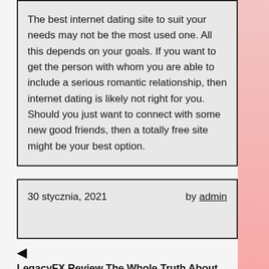The best internet dating site to suit your needs may not be the most used one. All this depends on your goals. If you want to get the person with whom you are able to include a serious romantic relationship, then internet dating is likely not right for you. Should you just want to connect with some new good friends, then a totally free site might be your best option.
30 stycznia, 2021    by admin
◄ LegacyFX Review The Whole Truth About LegacyFX com Broker
► Recommendations For Latin America Internet dating...